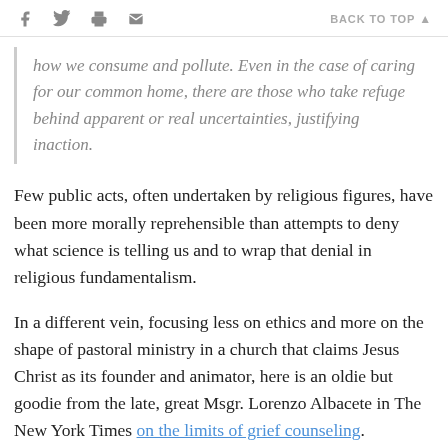f [twitter] [print] [email]   BACK TO TOP ▲
how we consume and pollute. Even in the case of caring for our common home, there are those who take refuge behind apparent or real uncertainties, justifying inaction.
Few public acts, often undertaken by religious figures, have been more morally reprehensible than attempts to deny what science is telling us and to wrap that denial in religious fundamentalism.
In a different vein, focusing less on ethics and more on the shape of pastoral ministry in a church that claims Jesus Christ as its founder and animator, here is an oldie but goodie from the late, great Msgr. Lorenzo Albacete in The New York Times on the limits of grief counseling.
How much do we miss Albacete, who could find